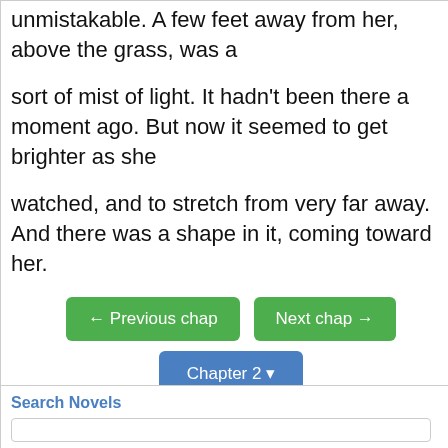unmistakable. A few feet away from her, above the grass, was a
sort of mist of light. It hadn't been there a moment ago. But now it seemed to get brighter as she
watched, and to stretch from very far away. And there was a shape in it, coming toward her.
← Previous chap   Next chap →   Chapter 2 ▾
Search Novels